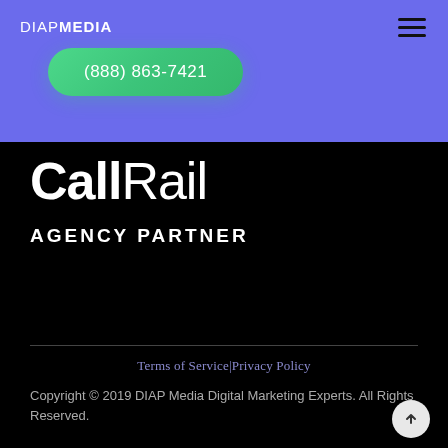DIAPMEDIA
(888) 863-7421
[Figure (logo): CallRail logo in large white bold/light mixed weight font on black background]
AGENCY PARTNER
Terms of Service|Privacy Policy
Copyright © 2019 DIAP Media Digital Marketing Experts. All Rights Reserved.